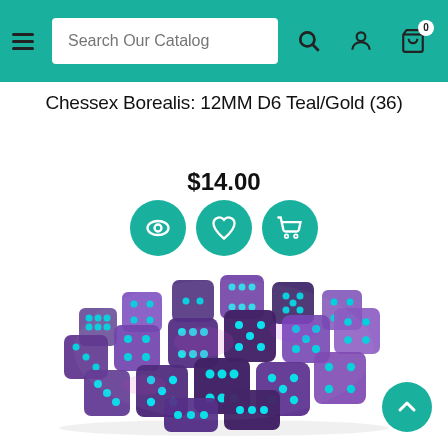Search Our Catalog
Chessex Borealis: 12MM D6 Teal/Gold (36)
$14.00
[Figure (photo): A pile of Chessex Borealis 12MM D6 dice in teal/gold colorway — translucent purple and blue marbled dice with teal/cyan pips, piled in a heap on a white background.]